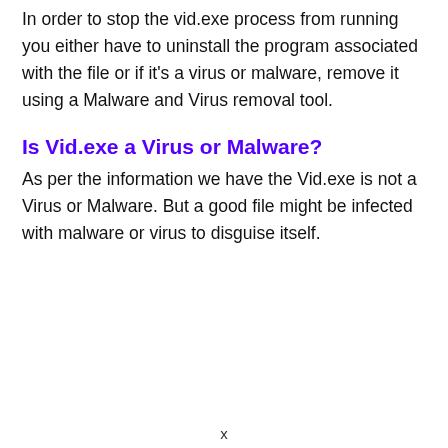In order to stop the vid.exe process from running you either have to uninstall the program associated with the file or if it's a virus or malware, remove it using a Malware and Virus removal tool.
Is Vid.exe a Virus or Malware?
As per the information we have the Vid.exe is not a Virus or Malware. But a good file might be infected with malware or virus to disguise itself.
x